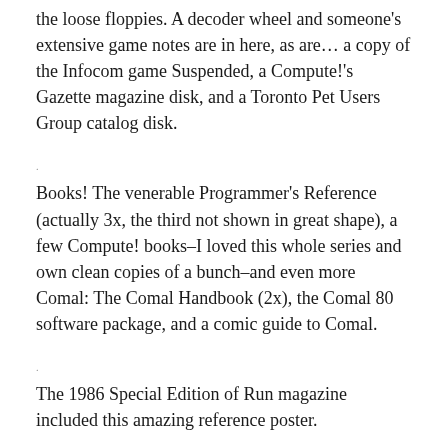the loose floppies. A decoder wheel and someone's extensive game notes are in here, as are… a copy of the Infocom game Suspended, a Compute!'s Gazette magazine disk, and a Toronto Pet Users Group catalog disk.
Books! The venerable Programmer's Reference (actually 3x, the third not shown in great shape), a few Compute! books–I loved this whole series and own clean copies of a bunch–and even more Comal: The Comal Handbook (2x), the Comal 80 software package, and a comic guide to Comal.
The 1986 Special Edition of Run magazine included this amazing reference poster.
Keyboard overlays with hints on how to use various productivity and programming software packages. Slightly browned over